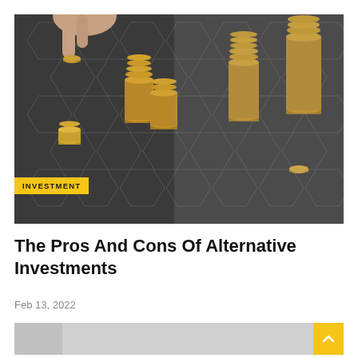[Figure (photo): A hand placing a gold coin onto stacks of coins arranged on a dark hexagonal pattern board with gold square bases, suggesting investment strategy.]
The Pros And Cons Of Alternative Investments
Feb 13, 2022
[Figure (photo): Bottom strip of another investment-related image, partially visible.]